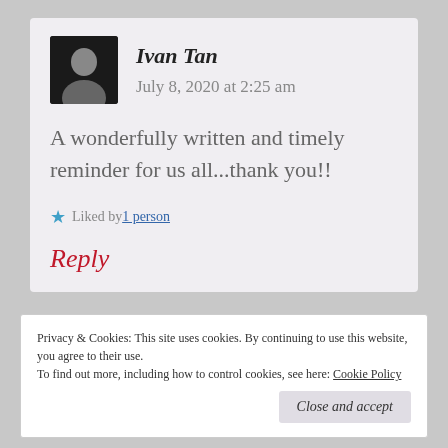Ivan Tan   July 8, 2020 at 2:25 am
A wonderfully written and timely reminder for us all...thank you!!
Liked by 1 person
Reply
Privacy & Cookies: This site uses cookies. By continuing to use this website, you agree to their use.
To find out more, including how to control cookies, see here: Cookie Policy
Close and accept